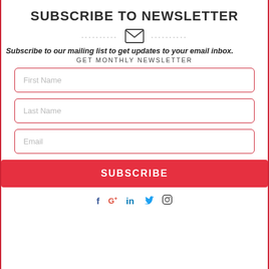SUBSCRIBE TO NEWSLETTER
[Figure (illustration): Envelope icon with dotted lines on either side]
Subscribe to our mailing list to get updates to your email inbox.
GET MONTHLY NEWSLETTER
First Name
Last Name
Email
SUBSCRIBE
[Figure (other): Social media icons: Facebook, Google+, LinkedIn, Twitter, Instagram]